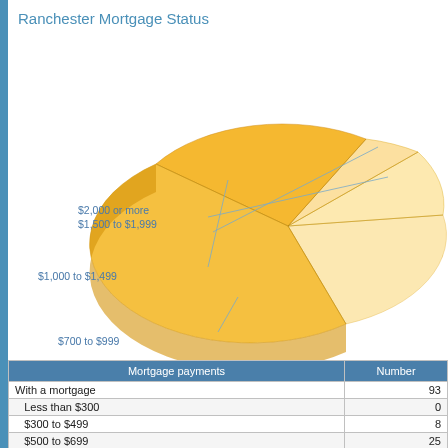Ranchester Mortgage Status
[Figure (pie-chart): Ranchester Mortgage Status]
| Mortgage payments | Number |
| --- | --- |
| With a mortgage | 93 |
| Less than $300 | 0 |
| $300 to $499 | 8 |
| $500 to $699 | 25 |
| $700 to $999 | 29 |
| $1,000 to $1,499 | 29 |